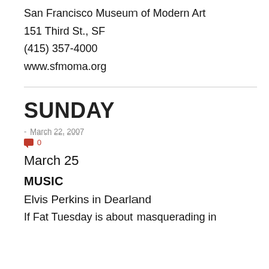San Francisco Museum of Modern Art
151 Third St., SF
(415) 357-4000
www.sfmoma.org
SUNDAY
- March 22, 2007  0
March 25
MUSIC
Elvis Perkins in Dearland
If Fat Tuesday is about masquerading in